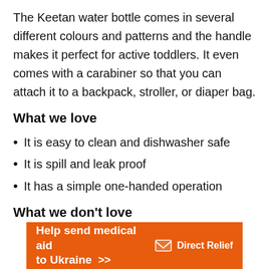The Keetan water bottle comes in several different colours and patterns and the handle makes it perfect for active toddlers. It even comes with a carabiner so that you can attach it to a backpack, stroller, or diaper bag.
What we love
It is easy to clean and dishwasher safe
It is spill and leak proof
It has a simple one-handed operation
What we don't love
[Figure (infographic): Orange advertisement banner for Direct Relief charity: 'Help send medical aid to Ukraine >>' with Direct Relief logo (white envelope icon and text) on right side.]